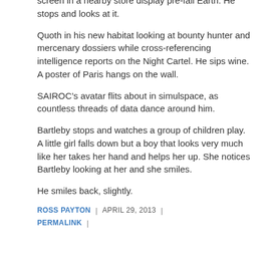screen in a nearby store display pre-fall Earth. He stops and looks at it.
Quoth in his new habitat looking at bounty hunter and mercenary dossiers while cross-referencing intelligence reports on the Night Cartel. He sips wine. A poster of Paris hangs on the wall.
SAIROC’s avatar flits about in simulspace, as countless threads of data dance around him.
Bartleby stops and watches a group of children play. A little girl falls down but a boy that looks very much like her takes her hand and helps her up. She notices Bartleby looking at her and she smiles.
He smiles back, slightly.
ROSS PAYTON  |  APRIL 29, 2013  |  PERMALINK  |